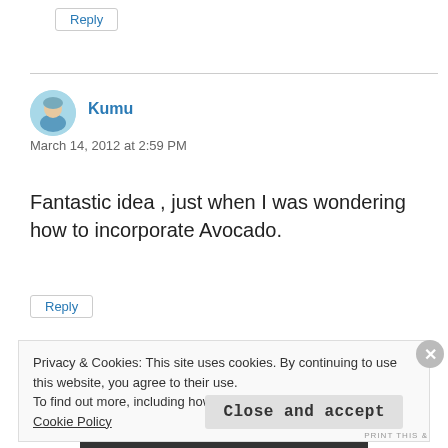Reply
Kumu
March 14, 2012 at 2:59 PM
Fantastic idea , just when I was wondering how to incorporate Avocado.
Reply
Privacy & Cookies: This site uses cookies. By continuing to use this website, you agree to their use.
To find out more, including how to control cookies, see here: Cookie Policy
Close and accept